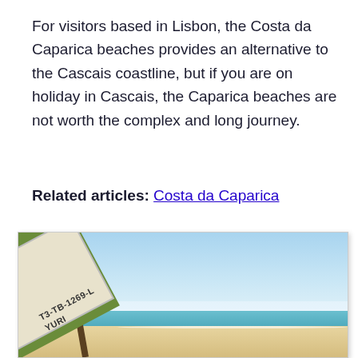For visitors based in Lisbon, the Costa da Caparica beaches provides an alternative to the Cascais coastline, but if you are on holiday in Cascais, the Caparica beaches are not worth the complex and long journey.
Related articles: Costa da Caparica
[Figure (photo): A wooden fishing boat with green hull and the text 'T3-TB-1269-L YURI' painted on its side, beached on a sandy shore with blue ocean and clear sky in the background. People and beach umbrellas visible in the distance.]